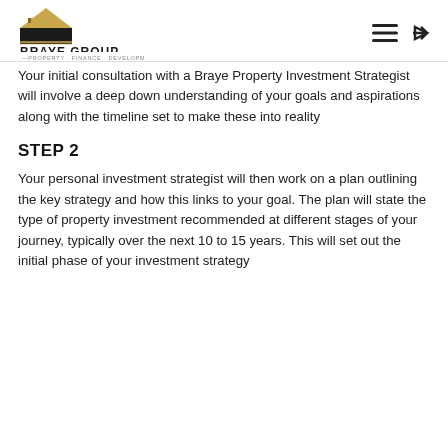Braye Group — Property · Finance · Developments
Your initial consultation with a Braye Property Investment Strategist will involve a deep down understanding of your goals and aspirations along with the timeline set to make these into reality
STEP 2
Your personal investment strategist will then work on a plan outlining the key strategy and how this links to your goal. The plan will state the type of property investment recommended at different stages of your journey, typically over the next 10 to 15 years. This will set out the initial phase of your investment strategy